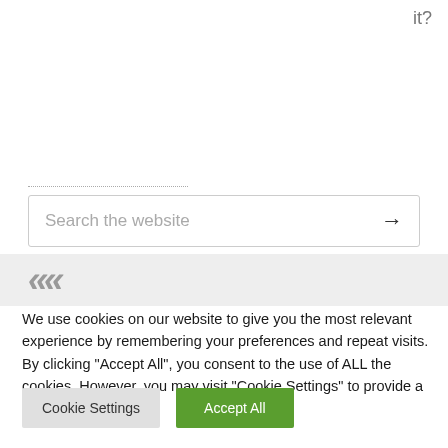it?
[Figure (screenshot): Search box with placeholder text 'Search the website' and a right arrow button]
[Figure (other): Decorative quotation marks on grey background]
We use cookies on our website to give you the most relevant experience by remembering your preferences and repeat visits. By clicking "Accept All", you consent to the use of ALL the cookies. However, you may visit "Cookie Settings" to provide a controlled consent.
Cookie Settings | Accept All